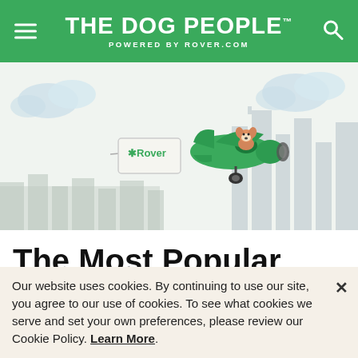THE DOG PEOPLE™ POWERED BY ROVER.COM
[Figure (illustration): Illustrated banner showing a green cartoon airplane piloted by a corgi dog, pulling a banner that reads 'Rover' with a paw print. Background shows a light blue and grey cityscape with clouds.]
The Most Popular Dog and Cat Names in
Our website uses cookies. By continuing to use our site, you agree to our use of cookies. To see what cookies we serve and set your own preferences, please review our Cookie Policy. Learn More.